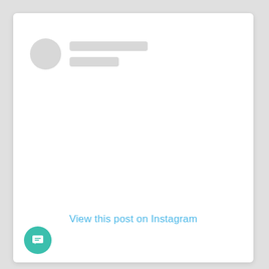[Figure (screenshot): Instagram embed placeholder card with a circular avatar placeholder and two gray rectangular placeholder lines for username/handle, a blue link text 'View this post on Instagram', and a teal circular chat button in the bottom-left corner.]
View this post on Instagram